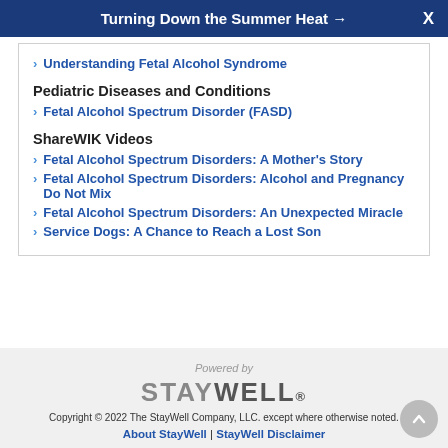Turning Down the Summer Heat →   X
Understanding Fetal Alcohol Syndrome
Pediatric Diseases and Conditions
Fetal Alcohol Spectrum Disorder (FASD)
ShareWIK Videos
Fetal Alcohol Spectrum Disorders: A Mother's Story
Fetal Alcohol Spectrum Disorders: Alcohol and Pregnancy Do Not Mix
Fetal Alcohol Spectrum Disorders: An Unexpected Miracle
Service Dogs: A Chance to Reach a Lost Son
Powered by STAYWELL® Copyright © 2022 The StayWell Company, LLC. except where otherwise noted. About StayWell | StayWell Disclaimer